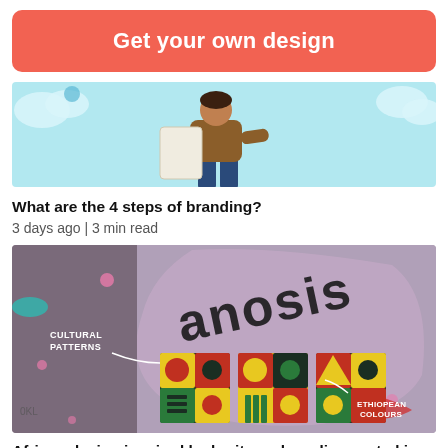Get your own design
[Figure (illustration): Partial image of a person in a brown jacket holding a white bag/paper, on a light blue background with cloud shapes]
What are the 4 steps of branding?
3 days ago | 3 min read
[Figure (illustration): Graphic showing cultural patterns with geometric shapes in yellow, green, red and dark colors. Text overlaid: 'CULTURAL PATTERNS' and 'ETHIOPEAN COLOURS'. Background is a graffiti wall with graffiti text.]
African design inspired by heritage: branding rooted in culture
6 days ago | 10 min read